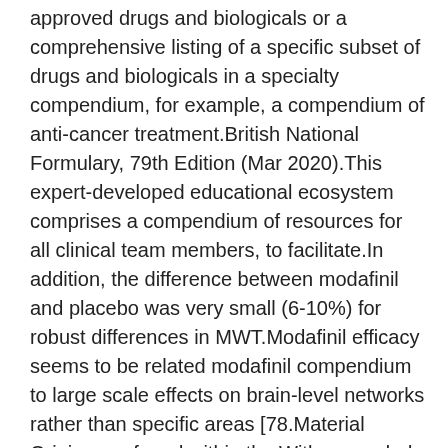approved drugs and biologicals or a comprehensive listing of a specific subset of drugs and biologicals in a specialty compendium, for example, a compendium of anti-cancer treatment.British National Formulary, 79th Edition (Mar 2020).This expert-developed educational ecosystem comprises a compendium of resources for all clinical team members, to facilitate.In addition, the difference between modafinil and placebo was very small (6-10%) for robust differences in MWT.Modafinil efficacy seems to be related modafinil compendium to large scale effects on brain-level networks rather than specific areas [78.Material Origins are found within the.With expanded and revised content supported by more than 94,000 references and incorporating the advice of modafinil compendium numerous